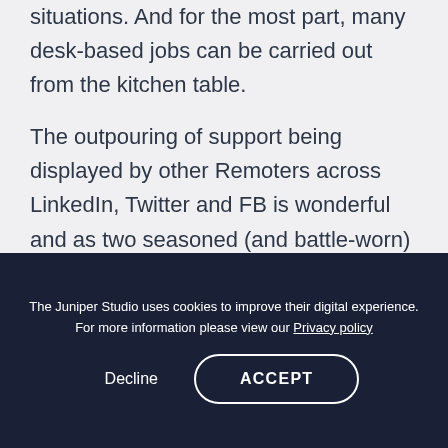situations. And for the most part, many desk-based jobs can be carried out from the kitchen table.
The outpouring of support being displayed by other Remoters across LinkedIn, Twitter and FB is wonderful and as two seasoned (and battle-worn) remote workers we'd love to summarise some of the things that we've learned that can turn you into a remote
The Juniper Studio uses cookies to improve their digital experience. For more information please view our Privacy policy
Decline
ACCEPT